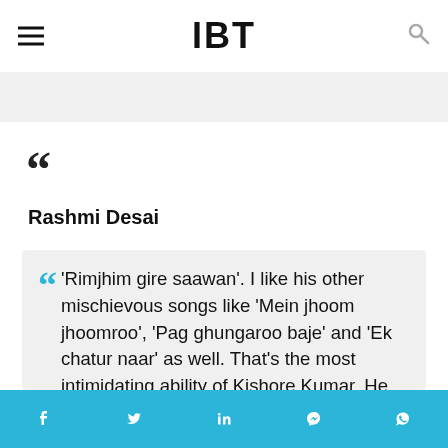IBT
"
Rashmi Desai
" 'Rimjhim gire saawan'. I like his other mischievous songs like 'Mein jhoom jhoomroo', 'Pag ghungaroo baje' and 'Ek chatur naar' as well. That's the most intimidating ability of Kishore Kumar. He could sing anything fabulously and on par."
Social share bar: Facebook, Twitter, LinkedIn, Messenger, WhatsApp